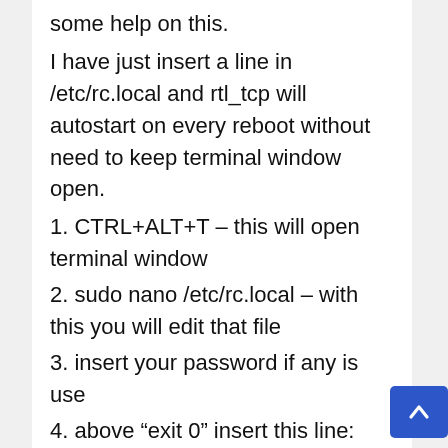some help on this.
I have just insert a line in /etc/rc.local and rtl_tcp will autostart on every reboot without need to keep terminal window open.
1. CTRL+ALT+T – this will open terminal window
2. sudo nano /etc/rc.local – with this you will edit that file
3. insert your password if any is use
4. above “exit 0” insert this line: sudo rtl_tcp -a YOUR local IP where RTL2832u is running